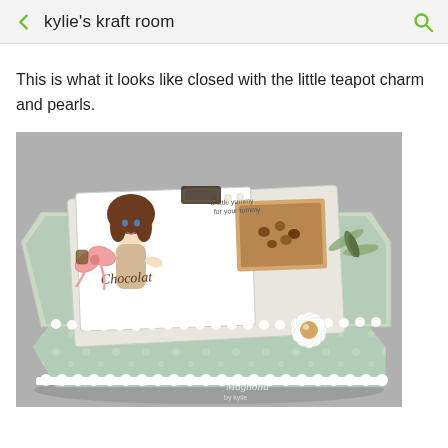kylie's kraft room
This is what it looks like closed with the little teapot charm and pearls.
[Figure (photo): A decorative handmade craft box covered in blue-green patterned paper with white doily lace trim. The lid features a stamped image of a girl with chocolate and nuts, a pink ribbon bow, a white flower with pearl center, and a dragonfly embellishment. The box is photographed at an angle on a grey background. A Magnolia watermark is visible at the bottom right.]